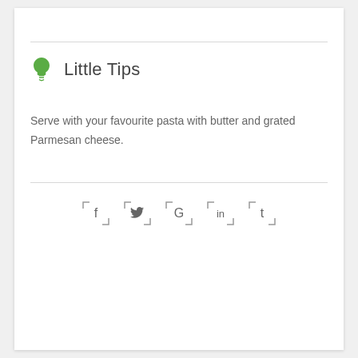Little Tips
Serve with your favourite pasta with butter and grated Parmesan cheese.
[Figure (other): Social media share icons: Facebook (f), Twitter (bird), Google (G), LinkedIn (in), Tumblr (t) — each inside a corner-bracket square outline]